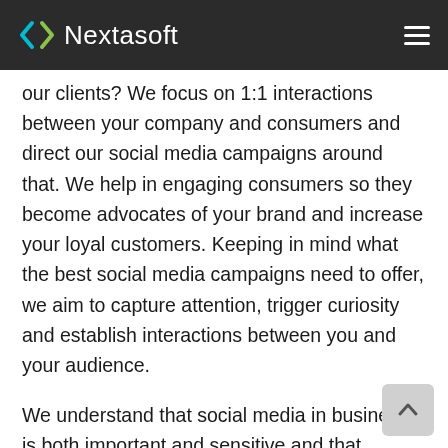Nextasoft
our clients? We focus on 1:1 interactions between your company and consumers and direct our social media campaigns around that. We help in engaging consumers so they become advocates of your brand and increase your loyal customers. Keeping in mind what the best social media campaigns need to offer, we aim to capture attention, trigger curiosity and establish interactions between you and your audience.
We understand that social media in business is both important and sensitive and that innocent action on the social network can be very damaging to your image and corporate reputation. Hence we provide you with a team of experts who specialise in social media and marketing to provide you with safe